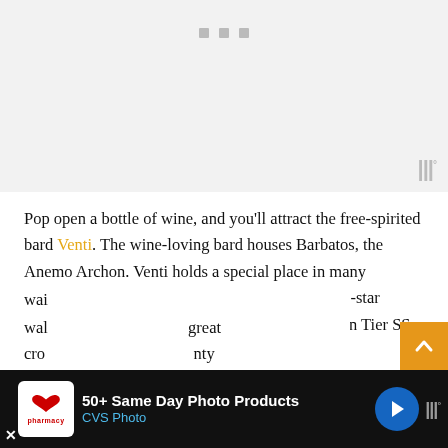[Figure (other): Gray placeholder image area with three small gray square dots at top center and a watermark logo at bottom right]
Pop open a bottle of wine, and you'll attract the free-spirited bard Venti. The wine-loving bard houses Barbatos, the Anemo Archon. Venti holds a special place in many Genshin players' hearts because he was the first 5-star introduced in the game two years ago. Venti sits in Tier SS for power and exploration.
You'll find that Venti's Elemental Skill makes exploring Teyw... walk ... great cro... ... nty
[Figure (screenshot): CVS Photo advertisement banner at the bottom: 50+ Same Day Photo Products, CVS Photo, with navigation icon and watermark]